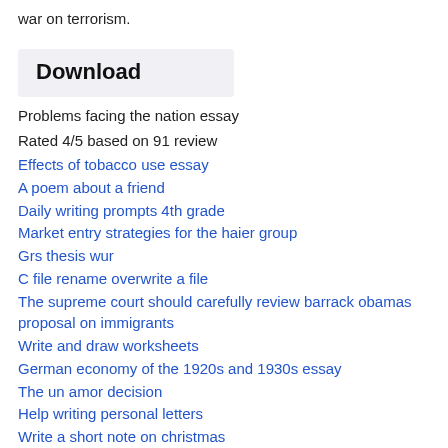war on terrorism.
Download
Problems facing the nation essay
Rated 4/5 based on 91 review
Effects of tobacco use essay
A poem about a friend
Daily writing prompts 4th grade
Market entry strategies for the haier group
Grs thesis wur
C file rename overwrite a file
The supreme court should carefully review barrack obamas proposal on immigrants
Write and draw worksheets
German economy of the 1920s and 1930s essay
The un amor decision
Help writing personal letters
Write a short note on christmas